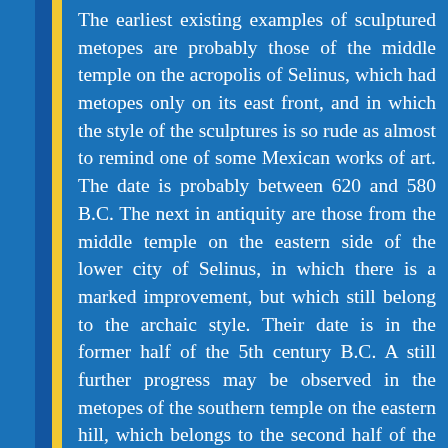The earliest existing examples of sculptured metopes are probably those of the middle temple on the acropolis of Selinus, which had metopes only on its east front, and in which the style of the sculptures is so rude as almost to remind one of some Mexican works of art. The date is probably between 620 and 580 B.C. The next in antiquity are those from the middle temple on the eastern side of the lower city of Selinus, in which there is a marked improvement, but which still belong to the archaic style. Their date is in the former half of the 5th century B.C. A still further progress may be observed in the metopes of the southern temple on the eastern hill, which belongs to the second half of the same century. In these the ground is tufa and the figures marble; the others are entirely of tufa.